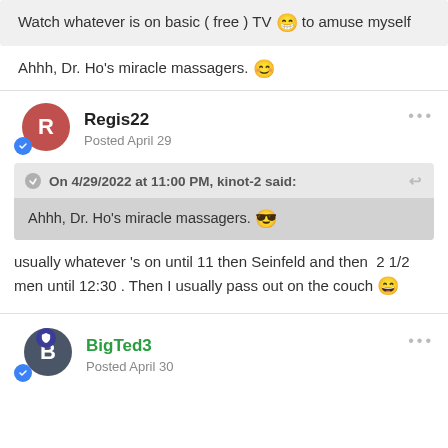Watch whatever is on basic ( free ) TV 😁 to amuse myself
Ahhh, Dr. Ho's miracle massagers. 😊
Regis22
Posted April 29
On 4/29/2022 at 11:00 PM, kinot-2 said:
Ahhh, Dr. Ho's miracle massagers. 😎
usually whatever 's on until 11 then Seinfeld and then  2 1/2 men until 12:30 . Then I usually pass out on the couch 😄
BigTed3
Posted April 30